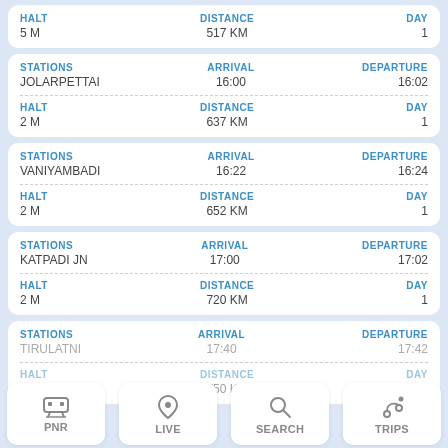| HALT | DISTANCE | DAY |
| --- | --- | --- |
| 5 M | 517 KM | 1 |
| STATIONS | ARRIVAL | DEPARTURE |
| --- | --- | --- |
| JOLARPETTAI | 16:00 | 16:02 |
| HALT | DISTANCE | DAY |
| --- | --- | --- |
| 2 M | 637 KM | 1 |
| STATIONS | ARRIVAL | DEPARTURE |
| --- | --- | --- |
| VANIYAMBADI | 16:22 | 16:24 |
| HALT | DISTANCE | DAY |
| --- | --- | --- |
| 2 M | 652 KM | 1 |
| STATIONS | ARRIVAL | DEPARTURE |
| --- | --- | --- |
| KATPADI JN | 17:00 | 17:02 |
| HALT | DISTANCE | DAY |
| --- | --- | --- |
| 2 M | 720 KM | 1 |
| STATIONS | ARRIVAL | DEPARTURE |
| --- | --- | --- |
| TIRULATNI | 17:40 | 17:42 |
| HALT | DISTANCE | DAY |
| --- | --- | --- |
| 2 M | 750 KM | 1 |
PNR
LIVE
SEARCH
TRIPS